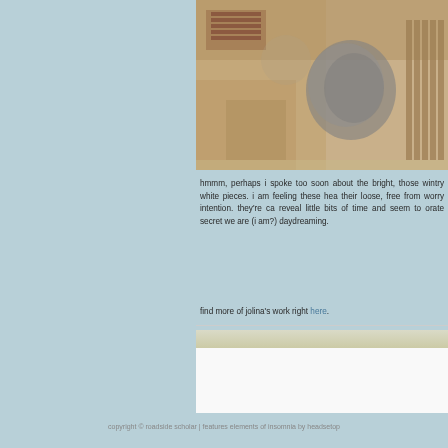[Figure (photo): Mixed media artwork with aged, textured surfaces showing earthy tones of brown, beige and grey with abstract collage elements]
hmmm, perhaps i spoke too soon about the bright, those wintry white pieces. i am feeling these hea their loose, free from worry intention. they're ca reveal little bits of time and seem to orate secret we are (i am?) daydreaming.
find more of jolina's work right here.
copyright © roadside scholar | features elements of insomnia by headsetop